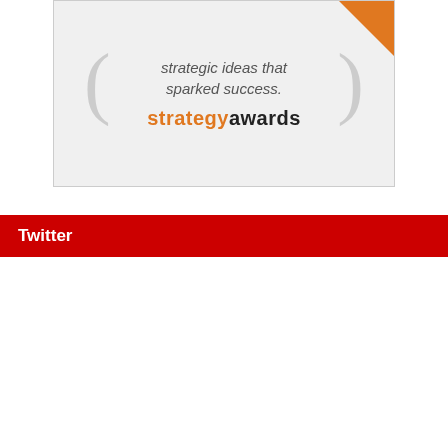[Figure (illustration): Strategy Awards advertisement banner with decorative brackets, corner triangle accent, italic text reading 'strategic ideas that sparked success.' and bold tagline 'strategy awards' with 'strategy' in orange and 'awards' in black.]
Twitter